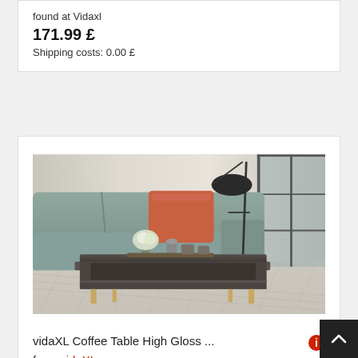found at Vidaxl
171.99 £
Shipping costs: 0.00 £
[Figure (photo): Living room scene showing a grey sofa with an orange cushion, a dark wooden coffee table with items on top, a floor lamp, and a glass-paned door in the background. The coffee table has open shelving underneath.]
vidaXL Coffee Table High Gloss ...
from vidaXL
found at Vidaxl